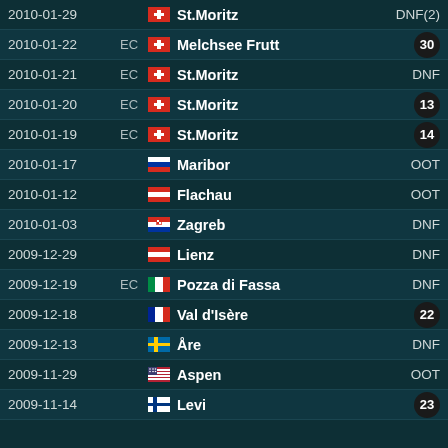| Date | Type | Country | Location | Result |
| --- | --- | --- | --- | --- |
| 2010-01-29 |  | Switzerland | St.Moritz | DNF(2) |
| 2010-01-22 | EC | Switzerland | Melchsee Frutt | 30 |
| 2010-01-21 | EC | Switzerland | St.Moritz | DNF |
| 2010-01-20 | EC | Switzerland | St.Moritz | 13 |
| 2010-01-19 | EC | Switzerland | St.Moritz | 14 |
| 2010-01-17 |  | Slovenia | Maribor | OOT |
| 2010-01-12 |  | Austria | Flachau | OOT |
| 2010-01-03 |  | Croatia | Zagreb | DNF |
| 2009-12-29 |  | Austria | Lienz | DNF |
| 2009-12-19 | EC | Italy | Pozza di Fassa | DNF |
| 2009-12-18 |  | France | Val d'Isère | 22 |
| 2009-12-13 |  | Sweden | Åre | DNF |
| 2009-11-29 |  | USA | Aspen | OOT |
| 2009-11-14 |  | Finland | Levi | 23 |